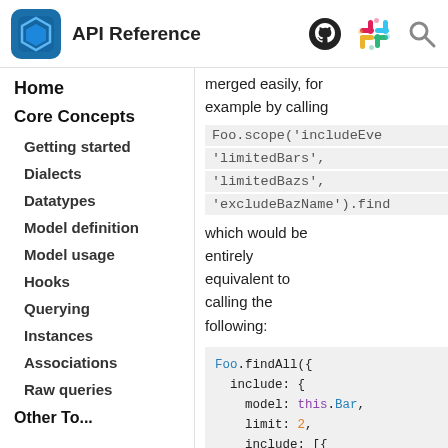API Reference
Home
Core Concepts
Getting started
Dialects
Datatypes
Model definition
Model usage
Hooks
Querying
Instances
Associations
Raw queries
merged easily, for example by calling
Foo.scope('includeEve 'limitedBars', 'limitedBazs', 'excludeBazName').find
which would be entirely equivalent to calling the following:
Foo.findAll({
  include: {
    model: this.Bar,
    limit: 2,
    include: [{
      model: this.Baz,
      limit: 2,
      attributes: {
        exclude: [